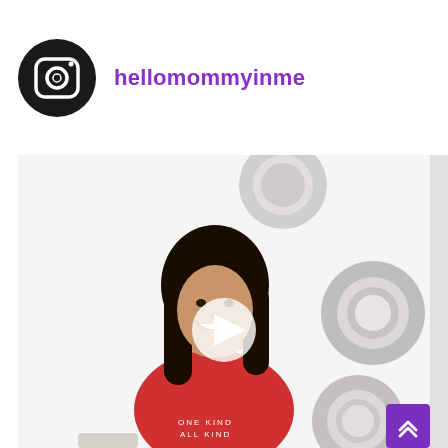[Figure (logo): Instagram icon logo - black circle with camera outline in white]
hellomommyinme
[Figure (photo): A smiling young woman with long black hair wearing a red t-shirt that reads ONE KIND ALL KIND, seated in front of a white wall with decorative round metallic mirror frames. A white play button triangle overlay is visible in the center of the image.]